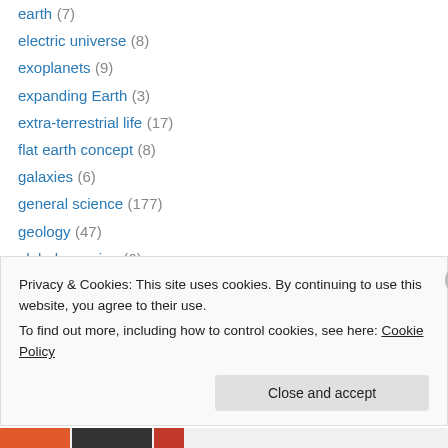earth (7)
electric universe (8)
exoplanets (9)
expanding Earth (3)
extra-terrestrial life (17)
flat earth concept (8)
galaxies (6)
general science (177)
geology (47)
global warming (6)
history (11)
hollow Earth (4)
humor (10)
Privacy & Cookies: This site uses cookies. By continuing to use this website, you agree to their use. To find out more, including how to control cookies, see here: Cookie Policy